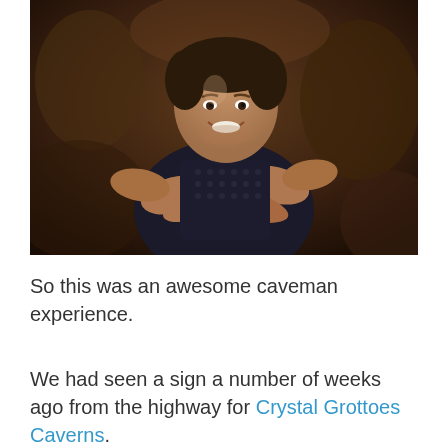[Figure (photo): A man with arms crossed wearing a dark sleeveless shirt, smiling, standing in front of a cave or rocky background.]
So this was an awesome caveman experience.
We had seen a sign a number of weeks ago from the highway for Crystal Grottoes Caverns.